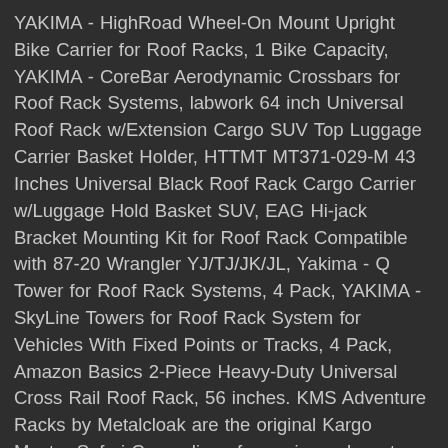YAKIMA - HighRoad Wheel-On Mount Upright Bike Carrier for Roof Racks, 1 Bike Capacity, YAKIMA - CoreBar Aerodynamic Crossbars for Roof Rack Systems, labwork 64 inch Universal Roof Rack w/Extension Cargo SUV Top Luggage Carrier Basket Holder, HTTMT MT371-029-M 43 Inches Universal Black Roof Rack Cargo Carrier w/Luggage Hold Basket SUV, EAG Hi-jack Bracket Mounting Kit for Roof Rack Compatible with 87-20 Wrangler YJ/TJ/JK/JL, Yakima - Q Tower for Roof Rack Systems, 4 Pack, YAKIMA - SkyLine Towers for Roof Rack System for Vehicles With Fixed Points or Tracks, 4 Pack, Amazon Basics 2-Piece Heavy-Duty Universal Cross Rail Roof Rack, 56 inches. KMS Adventure Racks by Metalcloak are the original Kargo Master Safari Congo line of superior rack system for your Jeep Wrangler JK and JK Unlimited. $1,123.99. $485.99. Menu. Amazon.com: jl roof rack. Easy to install and able to handle all your heavy gear. Account & Lists ... Hooke Road Roof Rack Cross Bars Kayak Cargo Carriers Compatible with Jeep Wrangler JK JL Gladiator JT 2007-2021 (Hard Top) 4.6 out of 5 stars 93. As a Law Enforcement and Military vehicle accessory provider...